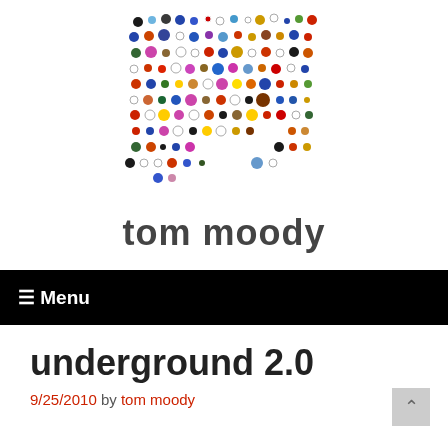[Figure (illustration): Colorful polka dot pattern logo image for tom moody blog]
tom moody
≡ Menu
underground 2.0
9/25/2010 by tom moody